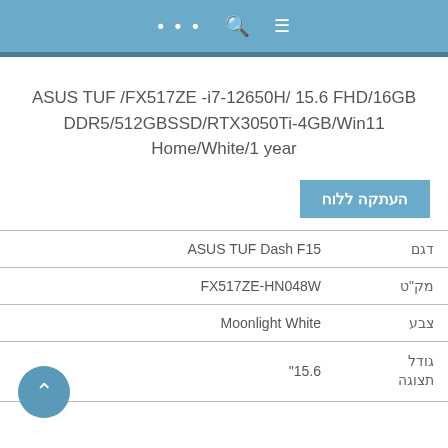... 🔍 ≡
ASUS TUF /FX517ZE -i7-12650H/ 15.6 FHD/16GB DDR5/512GBSSD/RTX3050Ti-4GB/Win11 Home/White/1 year
העתקה ללוח
|  |  |
| --- | --- |
| דגם | ASUS TUF Dash F15 |
| מק"ט | FX517ZE-HN048W |
| צבע | Moonlight White |
| גודל תצוגה | 15.6" |